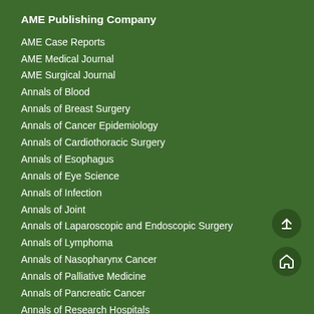AME Publishing Company
AME Case Reports
AME Medical Journal
AME Surgical Journal
Annals of Blood
Annals of Breast Surgery
Annals of Cancer Epidemiology
Annals of Cardiothoracic Surgery
Annals of Esophagus
Annals of Eye Science
Annals of Infection
Annals of Joint
Annals of Laparoscopic and Endoscopic Surgery
Annals of Lymphoma
Annals of Nasopharynx Cancer
Annals of Palliative Medicine
Annals of Pancreatic Cancer
Annals of Research Hospitals
Annals of Thyroid
Annals of Translational Medicine
Art of Surgery
Australian Journal of Otolaryngology